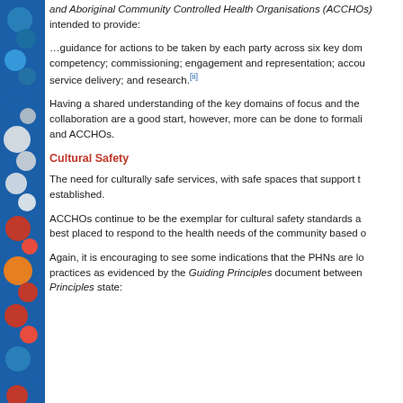and Aboriginal Community Controlled Health Organisations (ACCHOs) intended to provide:
…guidance for actions to be taken by each party across six key domains: competency; commissioning; engagement and representation; accountability; service delivery; and research.[ii]
Having a shared understanding of the key domains of focus and the collaboration are a good start, however, more can be done to formalise and ACCHOs.
Cultural Safety
The need for culturally safe services, with safe spaces that support the established.
ACCHOs continue to be the exemplar for cultural safety standards as best placed to respond to the health needs of the community based o
Again, it is encouraging to see some indications that the PHNs are looking to improve practices as evidenced by the Guiding Principles document between. Guiding Principles state: